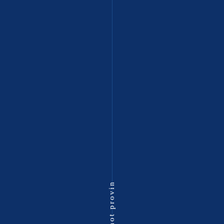trust becomes habitual.
Are you not provin